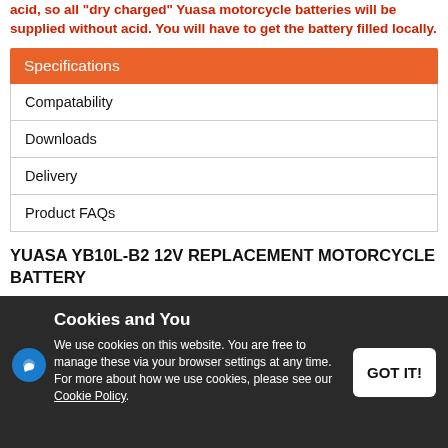acid, so all "dry charged" Yuasa motorcycle batteries will be supplied without acid. You will have to get the battery filled locally.
Specifications
Compatability
Downloads
Delivery
Product FAQs
YUASA YB10L-B2 12V REPLACEMENT MOTORCYCLE BATTERY
Specification
Manufacturer: Yuasa
Acid Included: No
Dimensions: 135mm x 90mm x 145mm
Capacity rating: 11Ah
Cookies and You
We use cookies on this website. You are free to manage these via your browser settings at any time. For more about how we use cookies, please see our Cookie Policy.